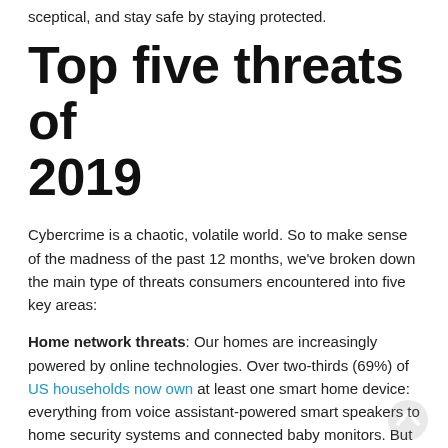sceptical, and stay safe by staying protected.
Top five threats of 2019
Cybercrime is a chaotic, volatile world. So to make sense of the madness of the past 12 months, we've broken down the main type of threats consumers encountered into five key areas:
Home network threats: Our homes are increasingly powered by online technologies. Over two-thirds (69%) of US households now own at least one smart home device: everything from voice assistant-powered smart speakers to home security systems and connected baby monitors. But gaps in protection can expose them to hackers. As the gateway to our home networks, routers are particularly at risk. It's a concern that 83%